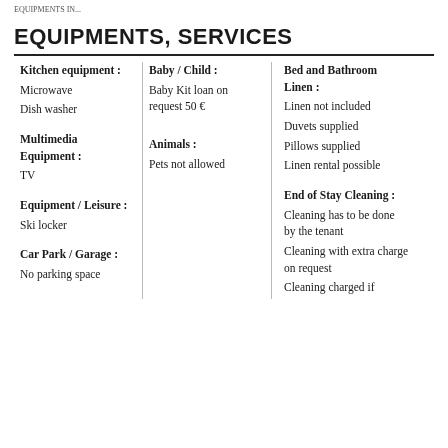EQUIPMENTS IN...
EQUIPMENTS, SERVICES
| Column 1 | Column 2 | Column 3 |
| --- | --- | --- |
| Kitchen equipment : | Baby / Child : | Bed and Bathroom Linen : |
| Microwave | Baby Kit loan on request 50 € | Linen not included |
| Dish washer |  | Duvets supplied |
|  |  | Pillows supplied |
| Multimedia Equipment : | Animals : | Linen rental possible |
| TV | Pets not allowed |  |
|  |  | End of Stay Cleaning : |
| Equipment / Leisure : |  | Cleaning has to be done by the tenant |
| Ski locker |  | Cleaning with extra charge on request |
| Car Park / Garage : |  | Cleaning charged if |
| No parking space |  |  |